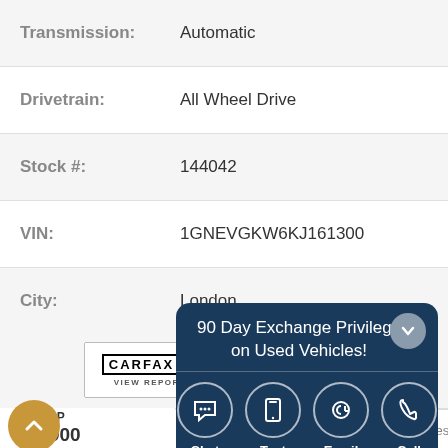| Field | Value |
| --- | --- |
| Transmission: | Automatic |
| Drivetrain: | All Wheel Drive |
| Stock #: | 144042 |
| VIN: | 1GNEVGKW6KJ161300 |
| City: | London |
[Figure (logo): CARFAX Canada badge with NO REPORTED ACCIDENTS label and VIEW REPORT link]
90 Day Exchange Privilege on Used Vehicles!
Pay | Reset
Vehicle P
$37,900
Taxes
Not inclu
[Figure (infographic): Contact icons: Chat, Text, Email, Call]